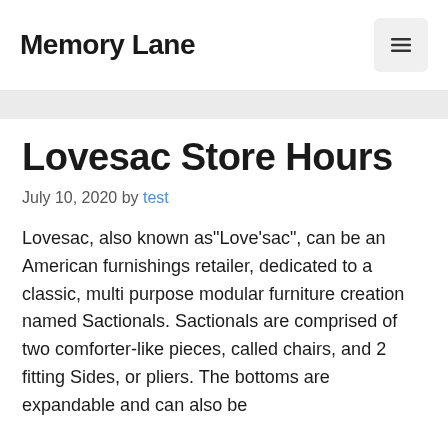Memory Lane
Lovesac Store Hours
July 10, 2020 by test
Lovesac, also known as"Love'sac", can be an American furnishings retailer, dedicated to a classic, multi purpose modular furniture creation named Sactionals. Sactionals are comprised of two comforter-like pieces, called chairs, and 2 fitting Sides, or pliers. The bottoms are expandable and can also be applied as a storage unit once wrapped up.